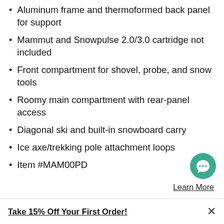Aluminum frame and thermoformed back panel for support
Mammut and Snowpulse 2.0/3.0 cartridge not included
Front compartment for shovel, probe, and snow tools
Roomy main compartment with rear-panel access
Diagonal ski and built-in snowboard carry
Ice axe/trekking pole attachment loops
Item #MAM00PD
Learn More
Take 15% Off Your First Order!